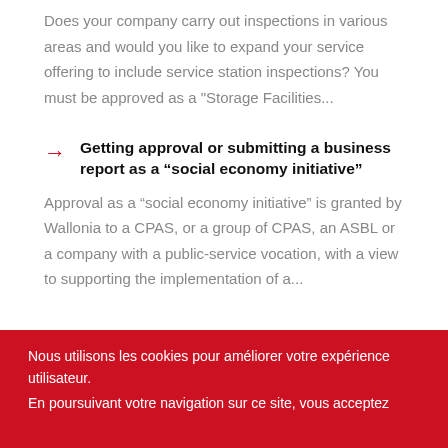Does your company carry out inspections in various areas and would you like to expand your service offering to include service station inspections? You must be approved as a "Storage Facilities...
Getting approval or submitting a business report as a “social economy initiative”
Approval as a “social economy initiative” is granted by Wallonia to a CPAS, or a group of CPAS, an ASBL or a company with a public-service vocation, with a view to supporting the implementation of a...
Nous utilisons les cookies pour améliorer votre expérience utilisateur.
En poursuivant votre navigation sur ce site, vous acceptez